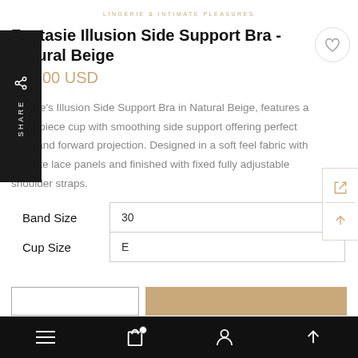LINGERIE & INTIMATE PLEASURES
Fantasie Illusion Side Support Bra - Natural Beige
$59.00 USD
Fantasie's Illusion Side Support Bra in Natural Beige, features a three-piece cup with smoothing side support offering perfect uplift and forward projection. Designed in a soft feel fabric with delicate lace panels and finished with fixed fully adjustable shoulder straps.
|  |  |
| --- | --- |
| Band Size | 30 |
| Cup Size | E |